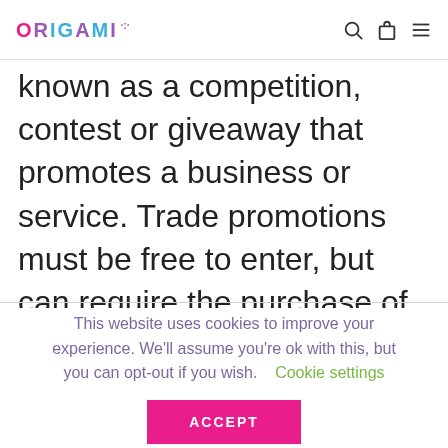ORIGAMI [logo with nav icons: search, bag, menu]
known as a competition, contest or giveaway that promotes a business or service. Trade promotions must be free to enter, but can require the purchase of a
This website uses cookies to improve your experience. We'll assume you're ok with this, but you can opt-out if you wish.  Cookie settings
ACCEPT